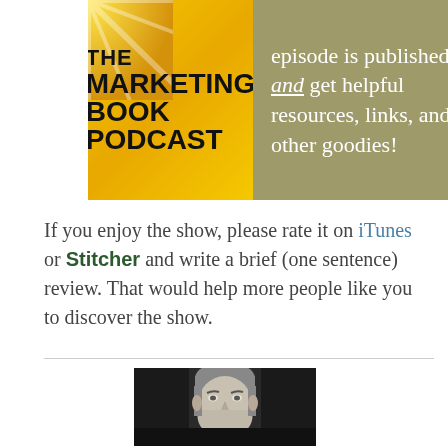[Figure (other): The Marketing Book Podcast banner with podcast logo on left (yellow sunburst background with bold black text 'THE MARKETING BOOK PODCAST') and text on right on olive/khaki background reading 'episode is published, and get helpful resources, links, and other goodies!']
If you enjoy the show, please rate it on iTunes or Stitcher and write a brief (one sentence) review. That would help more people like you to discover the show.
[Figure (photo): Black and white professional headshot of a middle-aged man with short gray hair, smiling, against a dark background.]